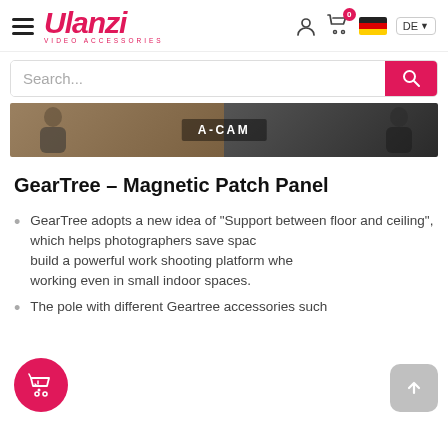Ulanzi - VIDEO ACCESSORIES (navbar with hamburger, logo, user icon, cart with 0, German flag, DE language selector)
Search...
[Figure (photo): A-CAM banner image showing people with camera equipment, half warm-toned left side and dark right side, with 'A-CAM' label in center]
GearTree – Magnetic Patch Panel
GearTree adopts a new idea of "Support between floor and ceiling", which helps photographers save space and build a powerful work shooting platform when working even in small indoor spaces.
The pole with different Geartree accessories such